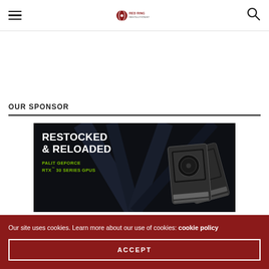[hamburger menu] [Red Ring Revolutionist logo] [search icon]
OUR SPONSOR
[Figure (photo): Palit GeForce RTX 30 Series GPUs advertisement banner with dark background. Large white bold text reads 'RESTOCKED & RELOADED'. Below in green text: 'PALIT GEFORCE RTX 30 SERIES GPUS'. GPU cards shown on the right side.]
Our site uses cookies. Learn more about our use of cookies: cookie policy
ACCEPT